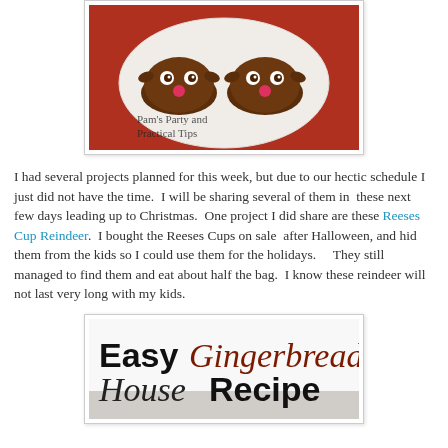[Figure (photo): Photo of two Reeses Cup Reindeer treats on a white plate against a red background, with watermark text 'Pam's Party and Practical Tips']
I had several projects planned for this week, but due to our hectic schedule I just did not have the time.  I will be sharing several of them in  these next few days leading up to Christmas.  One project I did share are these Reeses Cup Reindeer.  I bought the Reeses Cups on sale  after Halloween, and hid them from the kids so I could use them for the holidays.      They still managed to find them and eat about half the bag.  I know these reindeer will not last very long with my kids.
[Figure (photo): Image showing text 'Easy Gingerbread House Recipe' in mixed fonts — 'Easy' in bold black, 'Gingerbread' in cursive dark red/brown, 'House' in cursive dark, 'Recipe' in bold black — on a white background with a partial photo below]